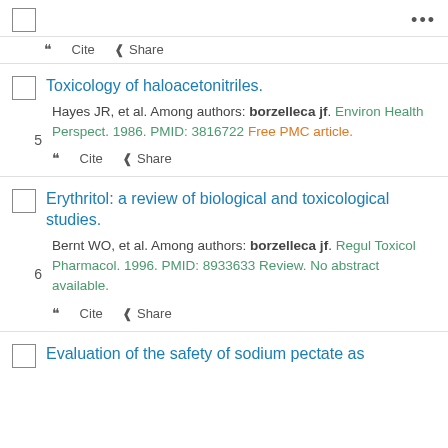Cite Share (top bar)
5. Toxicology of haloacetonitriles. Hayes JR, et al. Among authors: borzelleca jf. Environ Health Perspect. 1986. PMID: 3816722 Free PMC article.
6. Erythritol: a review of biological and toxicological studies. Bernt WO, et al. Among authors: borzelleca jf. Regul Toxicol Pharmacol. 1996. PMID: 8933633 Review. No abstract available.
7. Evaluation of the safety of sodium pectate as